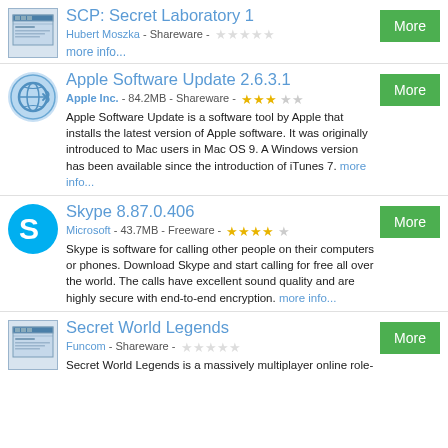SCP: Secret Laboratory 1 | Hubert Moszka - Shareware - [stars] | more info...
Apple Software Update 2.6.3.1 | Apple Inc. - 84.2MB - Shareware - [3 stars] | Apple Software Update is a software tool by Apple that installs the latest version of Apple software. It was originally introduced to Mac users in Mac OS 9. A Windows version has been available since the introduction of iTunes 7. more info...
Skype 8.87.0.406 | Microsoft - 43.7MB - Freeware - [4 stars] | Skype is software for calling other people on their computers or phones. Download Skype and start calling for free all over the world. The calls have excellent sound quality and are highly secure with end-to-end encryption. more info...
Secret World Legends | Funcom - Shareware - [stars] | Secret World Legends is a massively multiplayer online role-